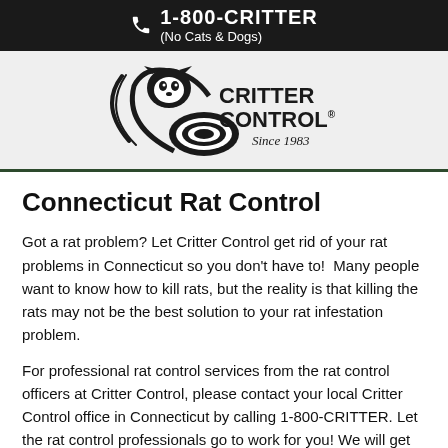1-800-CRITTER (No Cats & Dogs)
[Figure (logo): Critter Control logo with raccoon illustration and text 'CRITTER CONTROL Since 1983']
Connecticut Rat Control
Got a rat problem? Let Critter Control get rid of your rat problems in Connecticut so you don't have to!  Many people want to know how to kill rats, but the reality is that killing the rats may not be the best solution to your rat infestation problem.
For professional rat control services from the rat control officers at Critter Control, please contact your local Critter Control office in Connecticut by calling 1-800-CRITTER. Let the rat control professionals go to work for you! We will get rid of